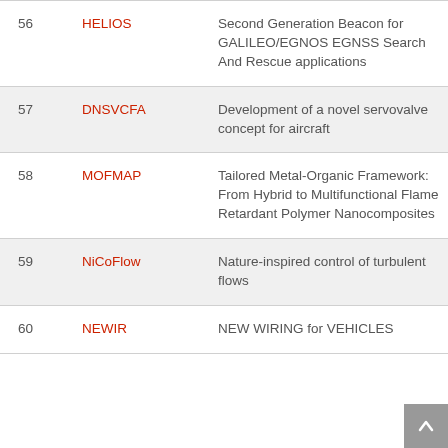| # | Code | Description |
| --- | --- | --- |
| 56 | HELIOS | Second Generation Beacon for GALILEO/EGNOS EGNSS Search And Rescue applications |
| 57 | DNSVCFA | Development of a novel servovalve concept for aircraft |
| 58 | MOFMAP | Tailored Metal-Organic Framework: From Hybrid to Multifunctional Flame Retardant Polymer Nanocomposites |
| 59 | NiCoFlow | Nature-inspired control of turbulent flows |
| 60 | NEWIR | NEW WIRING for VEHICLES |